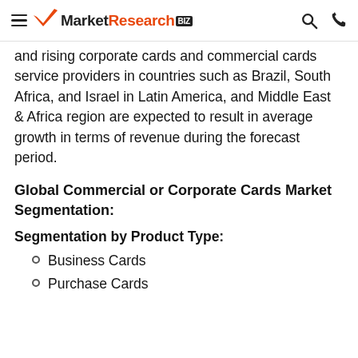MarketResearch.biz
and rising corporate cards and commercial cards service providers in countries such as Brazil, South Africa, and Israel in Latin America, and Middle East & Africa region are expected to result in average growth in terms of revenue during the forecast period.
Global Commercial or Corporate Cards Market Segmentation:
Segmentation by Product Type:
Business Cards
Purchase Cards